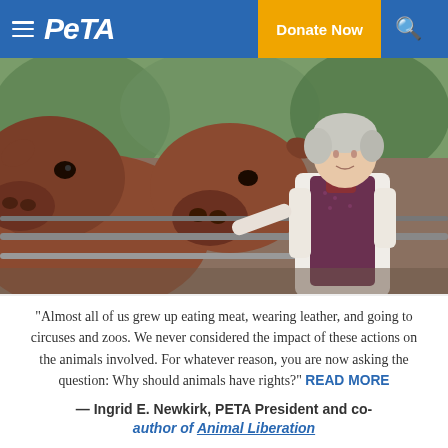PETA | Donate Now
[Figure (photo): A woman with short grey hair feeding or petting brown cows through a metal fence railing at what appears to be a farm or sanctuary. She is wearing a white long-sleeve shirt and a dark patterned vest.]
“Almost all of us grew up eating meat, wearing leather, and going to circuses and zoos. We never considered the impact of these actions on the animals involved. For whatever reason, you are now asking the question: Why should animals have rights?” READ MORE
— Ingrid E. Newkirk, PETA President and co-author of Animal Liberation